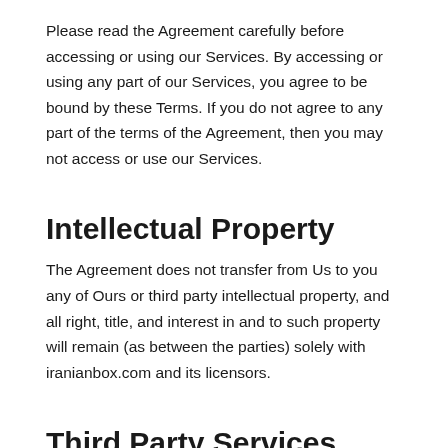Please read the Agreement carefully before accessing or using our Services. By accessing or using any part of our Services, you agree to be bound by these Terms. If you do not agree to any part of the terms of the Agreement, then you may not access or use our Services.
Intellectual Property
The Agreement does not transfer from Us to you any of Ours or third party intellectual property, and all right, title, and interest in and to such property will remain (as between the parties) solely with iranianbox.com and its licensors.
Third Party Services
In using the Services, you may use third-party services, products, software, embeds, or applications developed by a